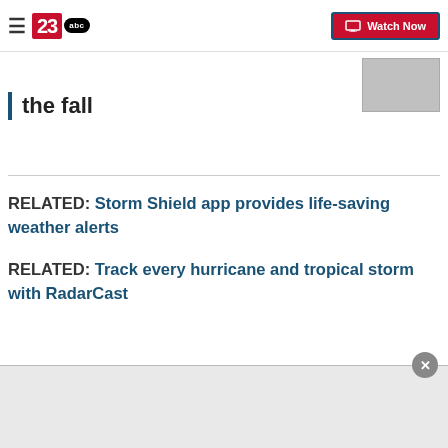23abc — Watch Now
the fall
RELATED: Storm Shield app provides life-saving weather alerts
RELATED: Track every hurricane and tropical storm with RadarCast
While a direct hit with the U.S. in the next week is